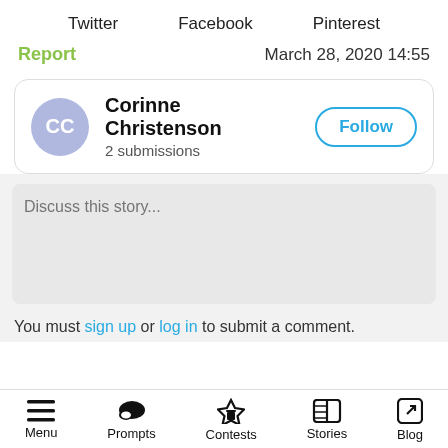Twitter   Facebook   Pinterest
Report   March 28, 2020 14:55
Corinne Christenson
2 submissions
Discuss this story...
You must sign up or log in to submit a comment.
Menu   Prompts   Contests   Stories   Blog